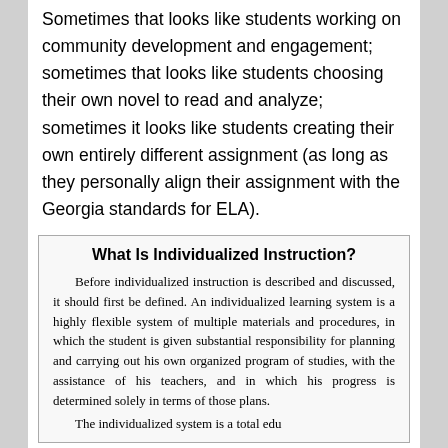Sometimes that looks like students working on community development and engagement; sometimes that looks like students choosing their own novel to read and analyze; sometimes it looks like students creating their own entirely different assignment (as long as they personally align their assignment with the Georgia standards for ELA).
What Is Individualized Instruction?
Before individualized instruction is described and discussed, it should first be defined. An individualized learning system is a highly flexible system of multiple materials and procedures, in which the student is given substantial responsibility for planning and carrying out his own organized program of studies, with the assistance of his teachers, and in which his progress is determined solely in terms of those plans.

The individualized system is a total edu-